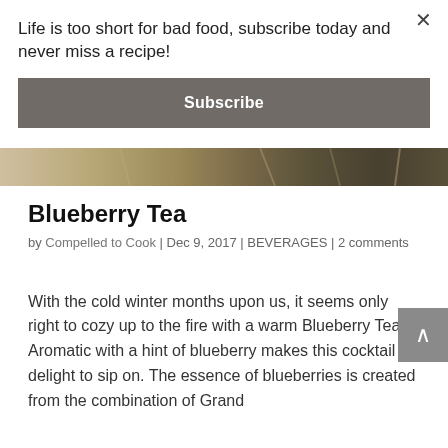Life is too short for bad food, subscribe today and never miss a recipe!
Subscribe
[Figure (photo): Close-up image of food with warm brown tones]
Blueberry Tea
by Compelled to Cook | Dec 9, 2017 | BEVERAGES | 2 comments
With the cold winter months upon us, it seems only right to cozy up to the fire with a warm Blueberry Tea. Aromatic with a hint of blueberry makes this cocktail a delight to sip on. The essence of blueberries is created from the combination of Grand